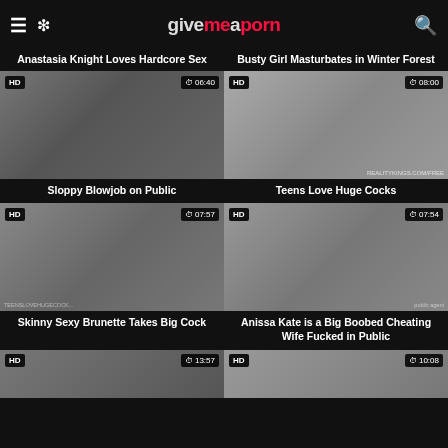GiveMeAporn
Anastasia Knight Loves Hardcore Sex
Busty Girl Masturbates in Winter Forest
[Figure (photo): HD video thumbnail - Sloppy Blowjob on Public, duration 06:40]
[Figure (photo): HD video thumbnail - Teens Love Huge Cocks, duration 08:00]
Sloppy Blowjob on Public
Teens Love Huge Cocks
[Figure (photo): HD video thumbnail - Skinny Sexy Brunette Takes Big Cock, duration 07:57]
[Figure (photo): HD video thumbnail - Anissa Kate is a Big Boobed Cheating Wife Fucked in Public, duration 07:54]
Skinny Sexy Brunette Takes Big Cock
Anissa Kate is a Big Boobed Cheating Wife Fucked in Public
[Figure (photo): HD video thumbnail partial - duration 13:57]
[Figure (photo): HD video thumbnail partial - duration 10:08]